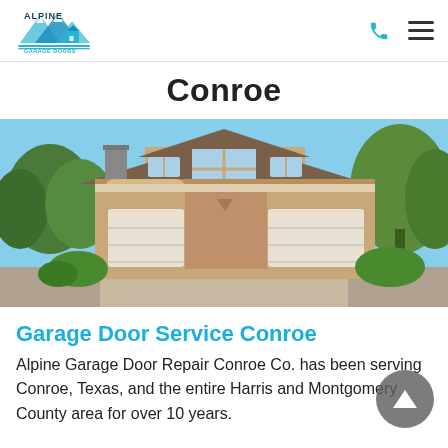[Figure (logo): Alpine Garage Doors logo with mountain peaks and house icon in blue tones]
Conroe
[Figure (photo): A two-story suburban house with three white garage doors, tan/brown exterior, arched window, surrounded by trees under a blue sky]
Garage Door Service Conroe
Alpine Garage Door Repair Conroe Co. has been serving Conroe, Texas, and the entire Harris and Montgomery County area for over 10 years.